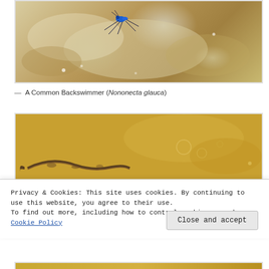[Figure (photo): Close-up photo of a Common Backswimmer insect (Notonecta glauca) on water surface with blue coloring and long legs visible, water has golden-brown and white-grey swirling patterns]
— A Common Backswimmer (Nononecta glauca)
[Figure (photo): Photo of a small fish or larva swimming in golden-brown murky water with bubbles visible on the surface]
Privacy & Cookies: This site uses cookies. By continuing to use this website, you agree to their use.
To find out more, including how to control cookies, see here: Cookie Policy
Close and accept